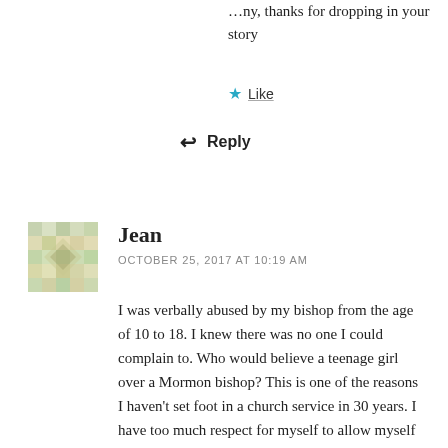...ny, thanks for dropping in your story
Like
Reply
Jean
OCTOBER 25, 2017 AT 10:19 AM
I was verbally abused by my bishop from the age of 10 to 18. I knew there was no one I could complain to. Who would believe a teenage girl over a Mormon bishop? This is one of the reasons I haven't set foot in a church service in 30 years. I have too much respect for myself to allow myself to be treated like a second class human being.